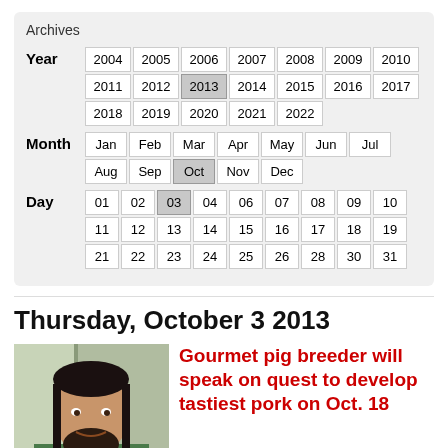Archives
| Year | Month | Day |
| --- | --- | --- |
| 2004 | 2005 | 2006 | 2007 | 2008 | 2009 | 2010 | 2011 |
| 2012 | 2013 | 2014 | 2015 | 2016 | 2017 | 2018 | 2019 |
| 2020 | 2021 | 2022 |
| Jan | Feb | Mar | Apr | May | Jun | Jul | Aug | Sep | Oct |
| Nov | Dec |
| 01 | 02 | 03 | 04 | 06 | 07 | 08 | 09 | 10 | 11 | 12 | 13 | 14 |
| 15 | 16 | 17 | 18 | 19 | 21 | 22 | 23 | 24 | 25 | 26 | 28 | 30 |
| 31 |
Thursday, October 3 2013
[Figure (photo): Headshot photo of a man with long dark hair and a beard, wearing a green shirt, indoors.]
Gourmet pig breeder will speak on quest to develop tastiest pork on Oct. 18